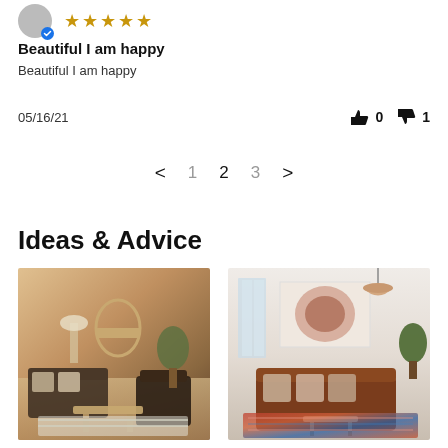[Figure (other): User avatar circle with blue checkmark badge and five gold star rating]
Beautiful I am happy
Beautiful I am happy
05/16/21
👍 0  👎 1
< 1 2 3 >
Ideas & Advice
[Figure (photo): Interior room photo with warm wood tones, sofa, chairs, arch mirror, plants]
[Figure (photo): Interior room photo with brown leather sofa, patterned rug, art print, pendant lamp, plants]